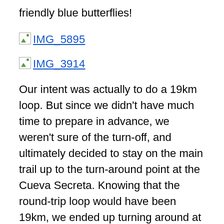friendly blue butterflies!
[Figure (photo): Broken image placeholder link labeled IMG_5895]
[Figure (photo): Broken image placeholder link labeled IMG_3914]
Our intent was actually to do a 19km loop. But since we didn't have much time to prepare in advance, we weren't sure of the turn-off, and ultimately decided to stay on the main trail up to the turn-around point at the Cueva Secreta. Knowing that the round-trip loop would have been 19km, we ended up turning around at the 10km point, without realizing we were just a mere 200m from the cave! Next time, we'll be prepared with some GPX tracks and waypoints marked in Rego.
With rest stops and lunch, we took about five hours to do the full 20km. On the way back we stopped to cool